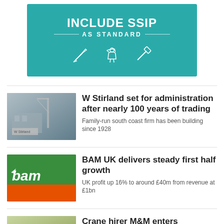[Figure (infographic): Teal banner reading INCLUDE SSIP AS STANDARD with icons of a trowel, construction worker, and hammer]
[Figure (photo): Construction site with crane and W Stirland signage]
W Stirland set for administration after nearly 100 years of trading
Family-run south coast firm has been building since 1928
[Figure (photo): BAM UK green and orange company sign with logo]
BAM UK delivers steady first half growth
UK profit up 16% to around £40m from revenue at £1bn
[Figure (photo): Crane hirer M&M photo thumbnail]
Crane hirer M&M enters